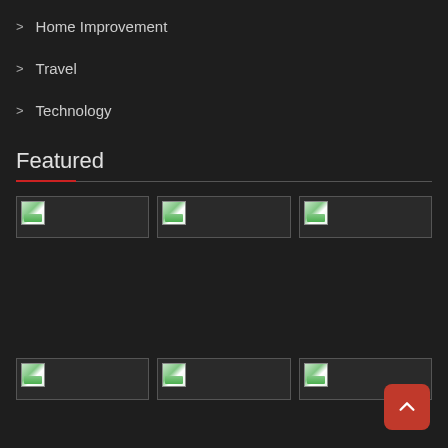> Home Improvement
> Travel
> Technology
Featured
[Figure (other): Six image placeholder thumbnails arranged in two rows of three, each showing a small landscape icon with green hills against a dark background]
[Figure (other): Back to top button - red rounded square with upward chevron arrow]